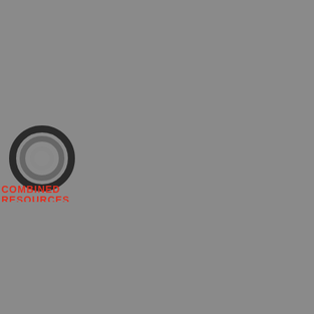[Figure (logo): Combined Resources company logo: concentric circular rings in dark/grey tones above red text reading 'COMBINED RESOURCES']